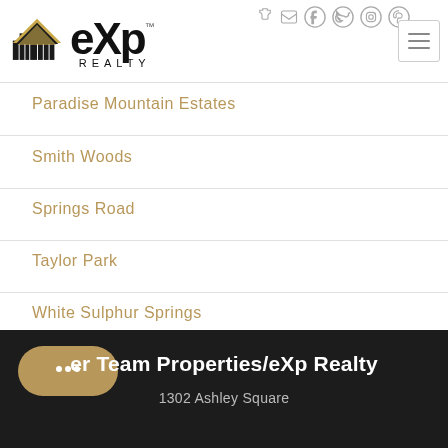Banner Team Properties / eXp Realty logo and navigation header
Paradise Mountain Estates
Smith Woods
Springs Road
Taylor Park
White Sulphur Springs
Banner Team Properties/eXp Realty
1302 Ashley Square